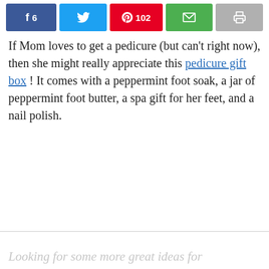[Figure (other): Social share buttons bar with Facebook (6 shares), Twitter, Pinterest (102 shares), email, and print buttons]
If Mom loves to get a pedicure (but can't right now), then she might really appreciate this pedicure gift box ! It comes with a peppermint foot soak, a jar of peppermint foot butter, a spa gift for her feet, and a nail polish.
Looking for some more great ideas for